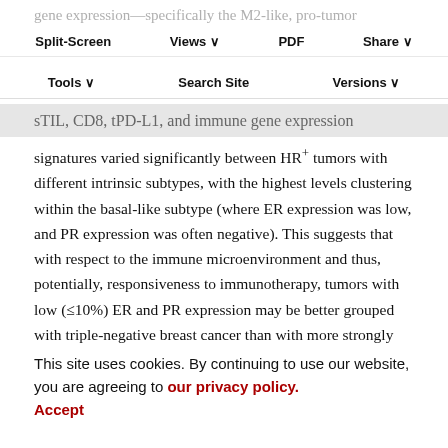gene expression—specifically the M2-like, pro-tumor macrophage phenotype.
Split-Screen | Views | PDF | Share | Tools | Search Site | Versions
sTIL, CD8, tPD-L1, and immune gene expression
signatures varied significantly between HR+ tumors with different intrinsic subtypes, with the highest levels clustering within the basal-like subtype (where ER expression was low, and PR expression was often negative). This suggests that with respect to the immune microenvironment and thus, potentially, responsiveness to immunotherapy, tumors with low (≤10%) ER and PR expression may be better grouped with triple-negative breast cancer than with more strongly ER/PR-positive
This site uses cookies. By continuing to use our website, you are agreeing to our privacy policy. Accept
for future clinical trial design. Doing an study that has been reported here, requires further exploration. Differences in the TME